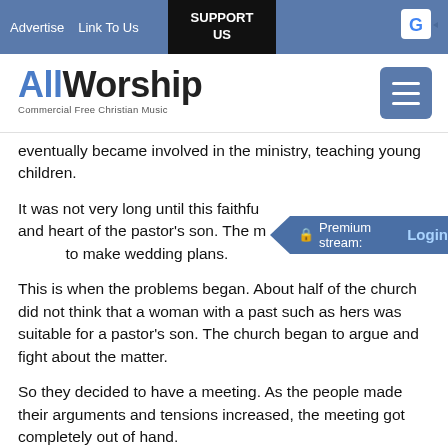Advertise  Link To Us  SUPPORT US
[Figure (logo): AllWorship logo with tagline 'Commercial Free Christian Music']
eventually became involved in the ministry, teaching young children.
It was not very long until this faithful [woman caught the eye] and heart of the pastor's son. The [young couple soon began] to make wedding plans.
This is when the problems began. About half of the church did not think that a woman with a past such as hers was suitable for a pastor's son. The church began to argue and fight about the matter.
So they decided to have a meeting. As the people made their arguments and tensions increased, the meeting got completely out of hand.
The young woman became very upset about all the things being brought up about her past.